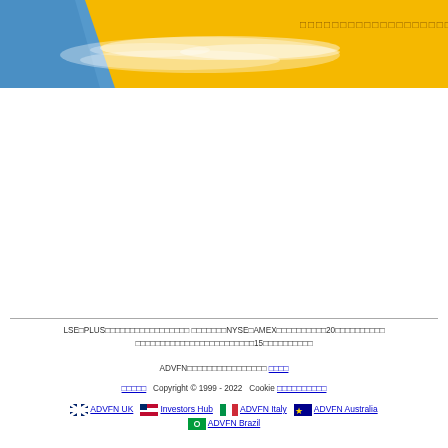[Figure (illustration): ADVFN website header banner with blue triangle on left and golden/yellow background with white wave design. Text in the top right contains Japanese/Thai characters in dark gold color.]
LSE□PLUS□□□□□□□□□□□□□□□□□ □□□□□□□NYSE□AMEX□□□□□□□□□□20□□□□□□□□□□ □□□□□□□□□□□□□□□□□□□□□□□□15□□□□□□□□□□
ADVFN□□□□□□□□□□□□□□□□ □□□□
□□□□□  Copyright © 1999 - 2022   Cookie □□□□□□□□□□
🇬🇧 ADVFN UK   🇺🇸 Investors Hub   🇮🇹 ADVFN Italy   🇦🇺 ADVFN Australia   🇧🇷 ADVFN Brazil